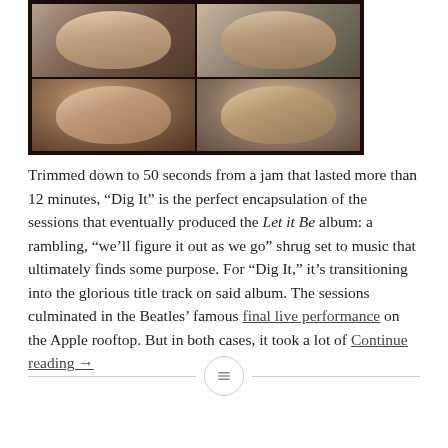[Figure (photo): A 2x2 grid photo collage showing four Beatles members (close-up portrait photos) against a dark brown/black background. The grid shows two members in the top row and two in the bottom row.]
Trimmed down to 50 seconds from a jam that lasted more than 12 minutes, “Dig It” is the perfect encapsulation of the sessions that eventually produced the Let it Be album: a rambling, “we’ll figure it out as we go” shrug set to music that ultimately finds some purpose. For “Dig It,” it’s transitioning into the glorious title track on said album. The sessions culminated in the Beatles’ famous final live performance on the Apple rooftop. But in both cases, it took a lot of Continue reading →
[Figure (other): A horizontal divider with a small circular icon containing a hamburger/lines menu symbol in the center.]